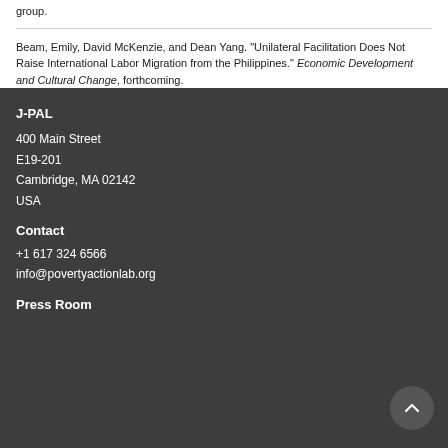group.
Beam, Emily, David McKenzie, and Dean Yang. "Unilateral Facilitation Does Not Raise International Labor Migration from the Philippines." Economic Development and Cultural Change, forthcoming.
J-PAL
400 Main Street
E19-201
Cambridge, MA 02142
USA
Contact
+1 617 324 6566
info@povertyactionlab.org
Press Room